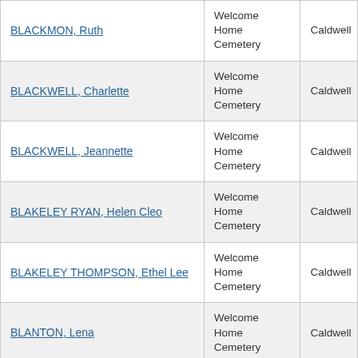| BLACKMON, Ruth | Welcome Home Cemetery | Caldwell |
| BLACKWELL, Charlette | Welcome Home Cemetery | Caldwell |
| BLACKWELL, Jeannette | Welcome Home Cemetery | Caldwell |
| BLAKELEY RYAN, Helen Cleo | Welcome Home Cemetery | Caldwell |
| BLAKELEY THOMPSON, Ethel Lee | Welcome Home Cemetery | Caldwell |
| BLANTON, Lena | Welcome Home Cemetery | Caldwell |
| BLOOM, Annie Lee | Welcome Home Cemetery | Caldwell |
| BOBBITT STAFFORD, Alice Imogene "Jean" | Welcome Home Cemetery | Caldwell |
| BOGGAN, Eris Voncille | Welcome Home Cemetery | Caldwell |